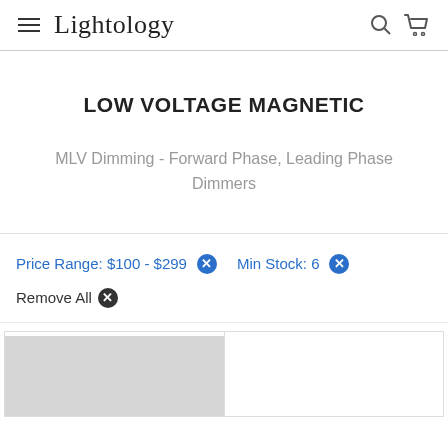Lightology
LOW VOLTAGE MAGNETIC
MLV Dimming - Forward Phase, Leading Phase Dimmers
Price Range: $100 - $299 × Min Stock: 6 ×
Remove All ×
[Figure (photo): Product thumbnail grid showing two product cells, one with a gray product image placeholder]